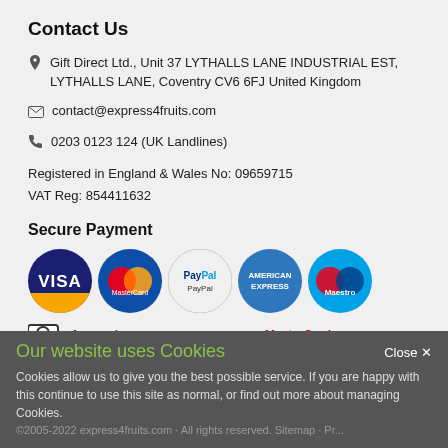Contact Us
Gift Direct Ltd., Unit 37 LYTHALLS LANE INDUSTRIAL EST, LYTHALLS LANE, Coventry CV6 6FJ United Kingdom
contact@express4fruits.com
0203 0123 124 (UK Landlines)
Registered in England & Wales No: 09659715
VAT Reg: 854411632
Secure Payment
[Figure (logo): Payment method logos: VISA, MasterCard, PayPal, American Express, Maestro, SiteLock, Verified by VISA, MasterCard SecureCode]
Follow Us
[Figure (logo): Social media icons: Facebook, Twitter, YouTube, Instagram, LinkedIn]
Our website uses Cookies
Cookies allow us to give you the best possible service. If you are happy with this continue to use this site as normal, or find out more about managing Cookies.
©2005-2022 express4fruits.com · All rights reserved. Sitemap · Pr...